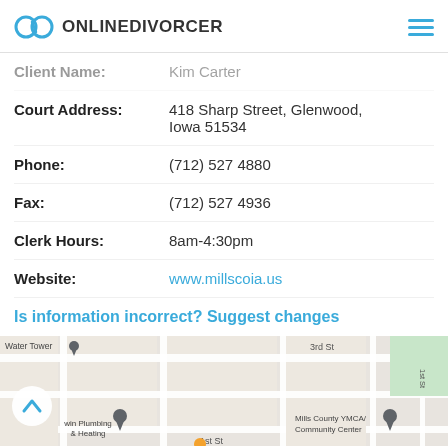ONLINEDIVORCER
Client Name: Kim Carter
Court Address: 418 Sharp Street, Glenwood, Iowa 51534
Phone: (712) 527 4880
Fax: (712) 527 4936
Clerk Hours: 8am-4:30pm
Website: www.millscoia.us
Is information incorrect? Suggest changes
[Figure (map): Google Maps screenshot showing area around 418 Sharp Street, Glenwood Iowa with pins for Water Tower, Win Plumbing & Heating, and Mills County YMCA/Community Center]